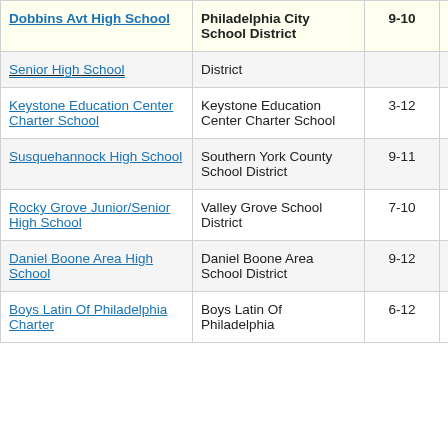| School | District | Grades | Value |
| --- | --- | --- | --- |
| Dobbins Avt High School | Philadelphia City School District | 9-10 | -3.8 |
| Senior High School | District |  |  |
| Keystone Education Center Charter School | Keystone Education Center Charter School | 3-12 | -17.4 |
| Susquehannock High School | Southern York County School District | 9-11 | -6.6 |
| Rocky Grove Junior/Senior High School | Valley Grove School District | 7-10 | -9.7 |
| Daniel Boone Area High School | Daniel Boone Area School District | 9-12 | -5.9 |
| Boys Latin Of Philadelphia Charter | Boys Latin Of Philadelphia | 6-12 | -6.6 |